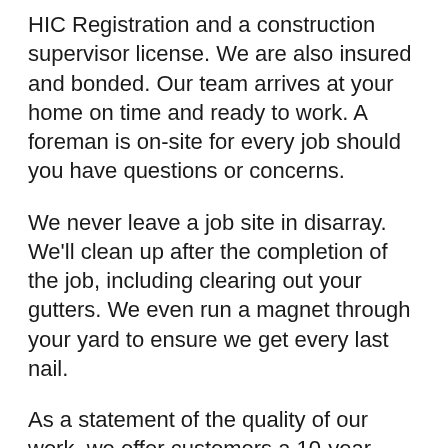HIC Registration and a construction supervisor license. We are also insured and bonded. Our team arrives at your home on time and ready to work. A foreman is on-site for every job should you have questions or concerns.
We never leave a job site in disarray. We'll clean up after the completion of the job, including clearing out your gutters. We even run a magnet through your yard to ensure we get every last nail.
As a statement of the quality of our work, we offer customers a 10-year labor warranty against any workmanship defects. Material warranties are provided by the manufacturer, and we are happy to go over those with you.